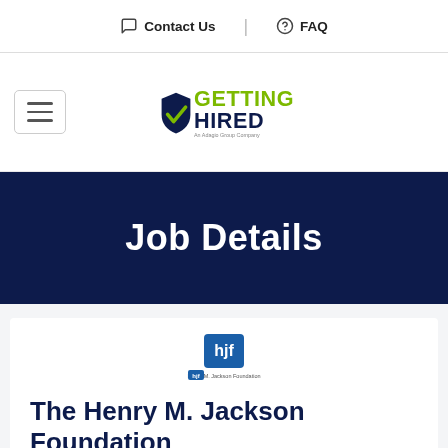Contact Us | FAQ
[Figure (logo): Getting Hired - An Adagio Group Company logo with green checkmark and dark blue text]
Job Details
[Figure (logo): HJF - Henry M. Jackson Foundation shield logo]
The Henry M. Jackson Foundation
Research Scientist I or II